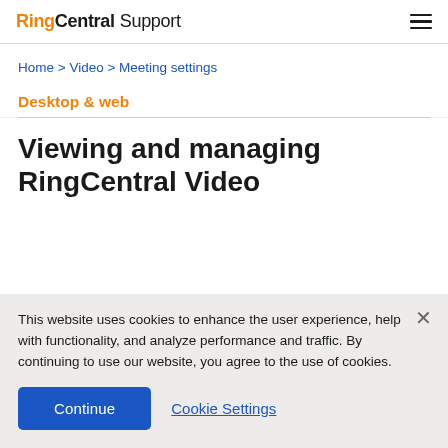RingCentral Support
Home > Video > Meeting settings
Desktop & web
Viewing and managing RingCentral Video
This website uses cookies to enhance the user experience, help with functionality, and analyze performance and traffic. By continuing to use our website, you agree to the use of cookies.
Continue | Cookie Settings